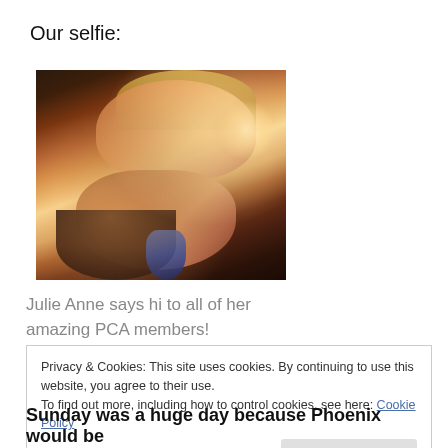Our selfie:
[Figure (photo): A selfie of two smiling women with their heads close together. The top person has blonde/light brown hair and the bottom person has dark hair with blue highlights. There is a bright light source in the background.]
Julie Anne says hi to all of her amazing PCA members!
Privacy & Cookies: This site uses cookies. By continuing to use this website, you agree to their use.
To find out more, including how to control cookies, see here: Cookie Policy
Sunday was a huge day because Phoenix would be